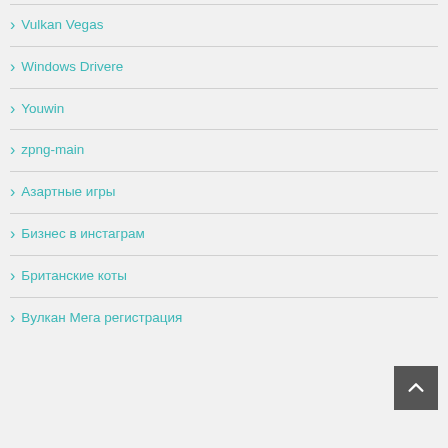Vulkan Vegas
Windows Drivere
Youwin
zpng-main
Азартные игры
Бизнес в инстаграм
Британские коты
Вулкан Мега регистрация